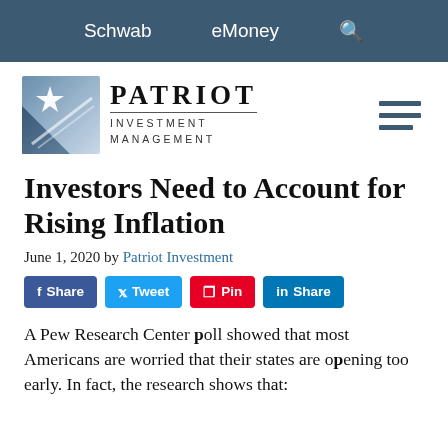Schwab   eMoney   🔍
[Figure (logo): Patriot Investment Management logo — blue star graphic with 'PATRIOT INVESTMENT MANAGEMENT' text]
Investors Need to Account for Rising Inflation
June 1, 2020 by Patriot Investment
Share  Tweet  Pin  Share
A Pew Research Center poll showed that most Americans are worried that their states are opening too early. In fact, the research shows that: